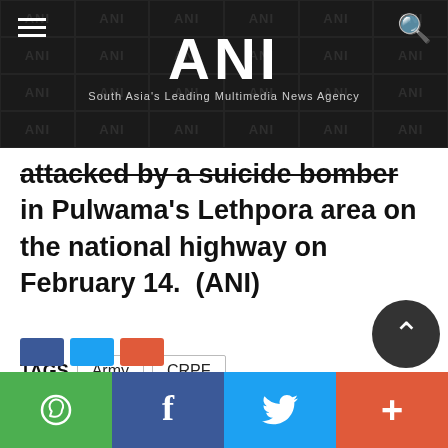ANI — South Asia's Leading Multimedia News Agency
attacked by a suicide bomber in Pulwama's Lethpora area on the national highway on February 14. (ANI)
TAGS: Army, CRPF, Jaish-e-Mohammad, JeM, Jammu and Kashmir, Lieutenant General Kanwal Jeet Singh Dhillon, Pulwama, IG SP Pani, Zulfiquar Hasan